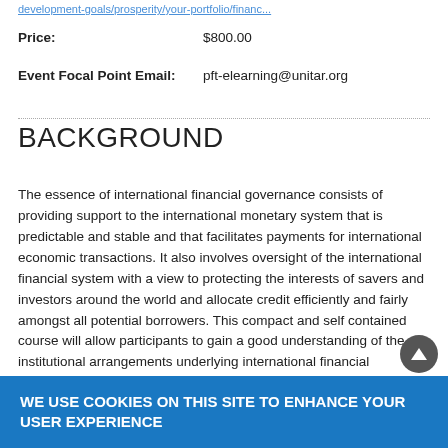development-goals/prosperity/your-portfolio/financ...
Price: $800.00
Event Focal Point Email: pft-elearning@unitar.org
BACKGROUND
The essence of international financial governance consists of providing support to the international monetary system that is predictable and stable and that facilitates payments for international economic transactions. It also involves oversight of the international financial system with a view to protecting the interests of savers and investors around the world and allocate credit efficiently and fairly amongst all potential borrowers. This compact and self contained course will allow participants to gain a good understanding of the institutional arrangements underlying international financial governance by providing an understanding of the framework, general
WE USE COOKIES ON THIS SITE TO ENHANCE YOUR USER EXPERIENCE